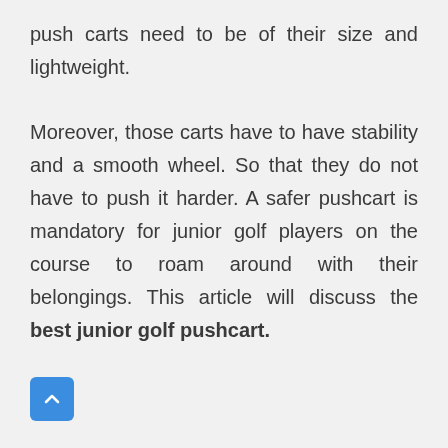push carts need to be of their size and lightweight.
Moreover, those carts have to have stability and a smooth wheel. So that they do not have to push it harder. A safer pushcart is mandatory for junior golf players on the course to roam around with their belongings. This article will discuss the best junior golf pushcart.
[Figure (other): Blue rounded square button with a white upward-pointing chevron/arrow icon]